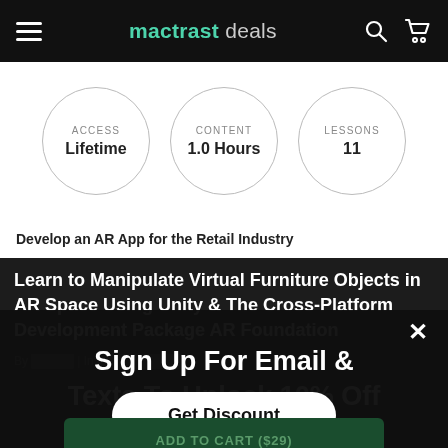mactrast deals
[Figure (infographic): Three circles showing ACCESS Lifetime, CONTENT 1.0 Hours, LESSONS 11]
Develop an AR App for the Retail Industry
Learn to Manipulate Virtual Furniture Objects in AR Space Using Unity & The Cross-Platform Development Package AR Foundation
By | In
Sign Up For Email & Texts To Unlock 10% Off
Get Discount
ADD TO CART ($29)